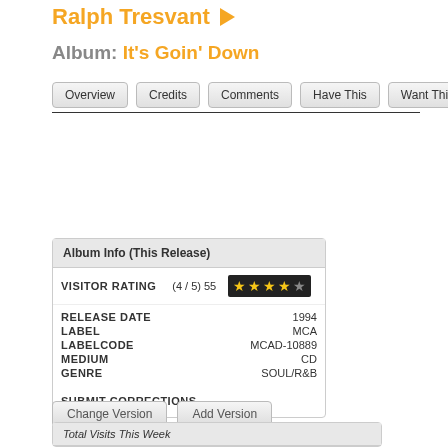Ralph Tresvant
Album: It's Goin' Down
Overview | Credits | Comments | Have This | Want This
| Field | Value |
| --- | --- |
| Album Info (This Release) |  |
| VISITOR RATING | (4 / 5) 55 ★★★★☆ |
| RELEASE DATE | 1994 |
| LABEL | MCA |
| LABELCODE | MCAD-10889 |
| MEDIUM | CD |
| GENRE | SOUL/R&B |
| SUBMIT CORRECTIONS |  |
Change Version | Add Version
Total Visits This Week